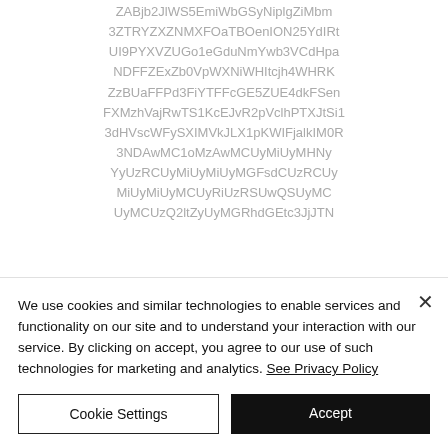ZABjb2JlWS5EmiWbGSyNiplgZiMbm
3ZTRYZXZNMXFOaTBOenION25YdIRt
UI9PYXVZUGo1eGduNmYwb3VCdHpa
NDFFZExZb0VpWXNiWHItcjh4WHRK
ZzBUaFFPd3FiYTFFcGE5ZUE4dkFSen
FXMzhVajRwTS1KcEJvR2pVclhPTXJtSi1
3dHVscWFySXIMVkJLX1pKWIFjalkIM0R
3NDAwMC1oMzAwMCUyMiUyMHNy
YyUzRCUyMiUyMiUyMGFsdCUzRCUy
MiUyMiUyMCUyRiUzRSUwQSUyMC
UyMCUzQ2ltZyUyMGRhdGEtc3JjJTN
We use cookies and similar technologies to enable services and functionality on our site and to understand your interaction with our service. By clicking on accept, you agree to our use of such technologies for marketing and analytics. See Privacy Policy
Cookie Settings
Accept